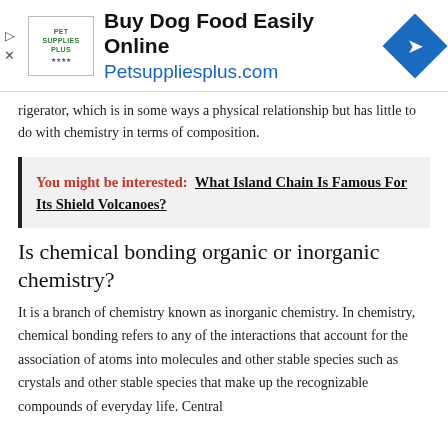[Figure (other): Advertisement banner for Pet Supplies Plus showing logo, headline 'Buy Dog Food Easily Online', URL 'Petsuppliesplus.com', and a blue diamond arrow icon]
rigerator, which is in some ways a physical relationship but has little to do with chemistry in terms of composition.
You might be interested: What Island Chain Is Famous For Its Shield Volcanoes?
Is chemical bonding organic or inorganic chemistry?
It is a branch of chemistry known as inorganic chemistry. In chemistry, chemical bonding refers to any of the interactions that account for the association of atoms into molecules and other stable species such as crystals and other stable species that make up the recognizable compounds of everyday life. Central